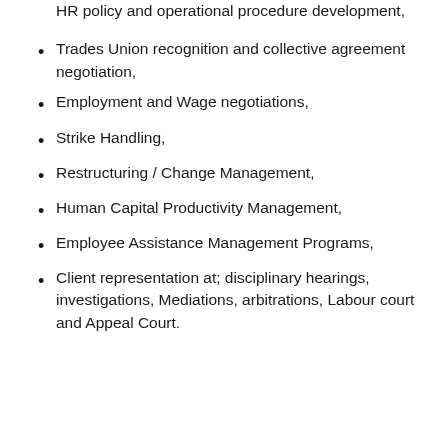HR policy and operational procedure development,
Trades Union recognition and collective agreement negotiation,
Employment and Wage negotiations,
Strike Handling,
Restructuring / Change Management,
Human Capital Productivity Management,
Employee Assistance Management Programs,
Client representation at; disciplinary hearings, investigations, Mediations, arbitrations, Labour court and Appeal Court.